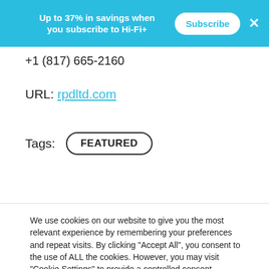Up to 37% in savings when you subscribe to Hi-Fi+  Subscribe  ×
+1 (817) 665-2160
URL: rpdltd.com
Tags:  FEATURED
We use cookies on our website to give you the most relevant experience by remembering your preferences and repeat visits. By clicking "Accept All", you consent to the use of ALL the cookies. However, you may visit "Cookie Settings" to provide a controlled consent.